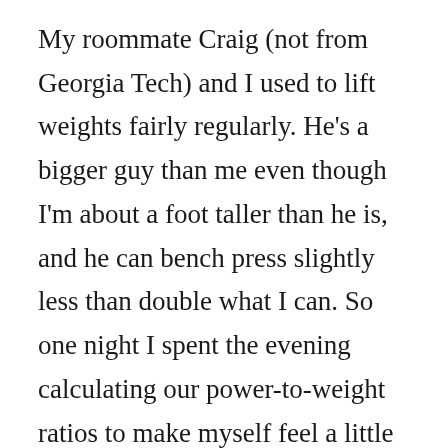My roommate Craig (not from Georgia Tech) and I used to lift weights fairly regularly. He's a bigger guy than me even though I'm about a foot taller than he is, and he can bench press slightly less than double what I can. So one night I spent the evening calculating our power-to-weight ratios to make myself feel a little better about this. Since I'm about 30 pounds lighter AND my arms are longer so I do more work since I lift the weights farther, I figured this would work out in my favor.